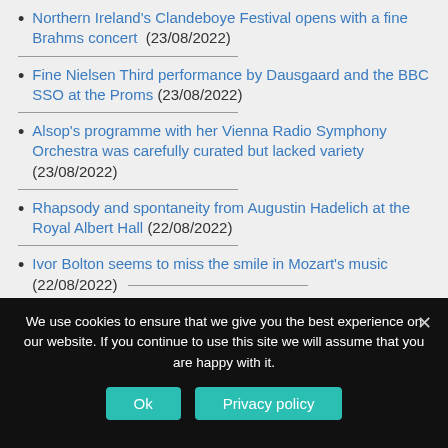Northern Ireland's Clandeboye Festival opens with a fine Brahms concert (23/08/2022)
Fine Nielsen Third performance by Dausgaard and the BBC SSO at the Proms (23/08/2022)
Alsop's programme with her Vienna Radio Symphony Orchestra was carefully curated but lacked variety (23/08/2022)
Rhapsody and spontaneity from Augustin Hadelich at the Royal Albert Hall (22/08/2022)
Ivor Bolton seems to miss the smile in Mozart's music (22/08/2022)
We use cookies to ensure that we give you the best experience on our website. If you continue to use this site we will assume that you are happy with it.